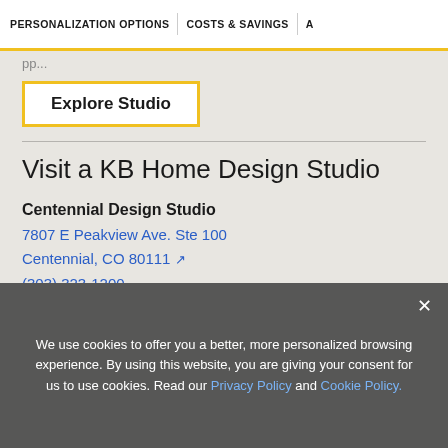PERSONALIZATION OPTIONS  |  COSTS & SAVINGS  |  A
pp...
Explore Studio
Visit a KB Home Design Studio
Centennial Design Studio
7807 E Peakview Ave. Ste 100
Centennial, CO 80111
(303) 323-1200
Studio Hours:
Monday - Tuesday By Appointment 10:00 AM - 6:00 PM
We use cookies to offer you a better, more personalized browsing experience. By using this website, you are giving your consent for us to use cookies. Read our Privacy Policy and Cookie Policy.